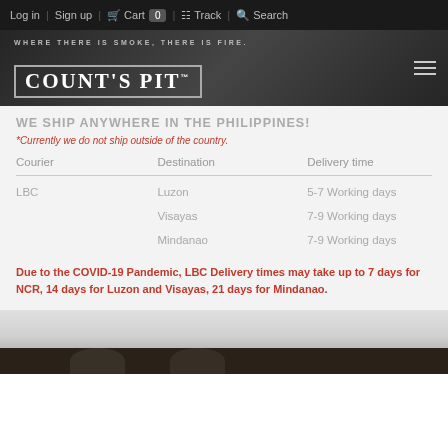Log in | Sign up | Cart 0 | Track | Search
[Figure (logo): Count's Pit logo with tagline WHERE THERE IS SMOKE, THERE IS FIRE.]
WE SHIP ANYWHERE IN THE PHILIPPINES!
*Currently we do not ship outside of the country.
| Courier | Destination | Delivery time |
| --- | --- | --- |
| LBC | Luzon | 5-7 Working days |
|  | Visayas | 7-9 Working days |
|  | Mindanao | 7-9 Working days |
Due to the COVID-19 Pandemic, LBC Delivery times may take up to 7 days for NCR, 14 days for Luzon and Visayas, 21 days for Mindanao.